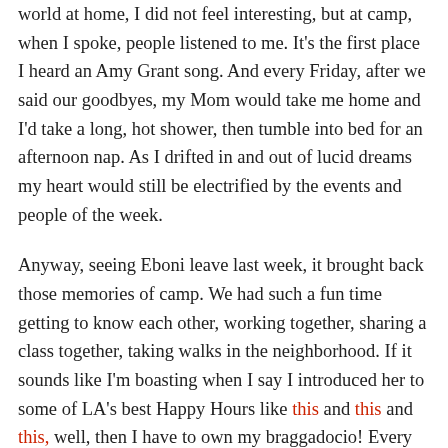world at home, I did not feel interesting, but at camp, when I spoke, people listened to me. It's the first place I heard an Amy Grant song. And every Friday, after we said our goodbyes, my Mom would take me home and I'd take a long, hot shower, then tumble into bed for an afternoon nap. As I drifted in and out of lucid dreams my heart would still be electrified by the events and people of the week.
Anyway, seeing Eboni leave last week, it brought back those memories of camp. We had such a fun time getting to know each other, working together, sharing a class together, taking walks in the neighborhood. If it sounds like I'm boasting when I say I introduced her to some of LA's best Happy Hours like this and this and this, well, then I have to own my braggadocio! Every day at work before she left, I'd sing Michael W. Smith's Friends to her. I have a hope that Eboni will move back to LA and our friendship will resume and even grow, but we never know what life holds. She and I may never live in the same city again. Still, I'm grateful and electrified by the time we spent together talking mai-tai's and Tennessee Williams and baked goods and Alfre Woodard. And regardless of geography, just like Michael W. Smith says, there are some friendships that are